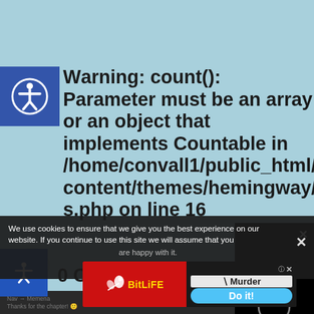Warning: count(): Parameter must be an array or an object that implements Countable in /home/convall1/public_html/wp-content/themes/hemingway/comments.php on line 16
0 Comments
[Figure (screenshot): Black video player overlay with circular loading spinner and X close button]
We use cookies to ensure that we give you the best experience on our website. If you continue to use this site we will assume that you are happy with it.
[Figure (screenshot): BitLife advertisement banner with red background, sperm icon, yellow BitLife text on left, and Murder / Do it! options on right]
Thanks for the chapter! 🙂